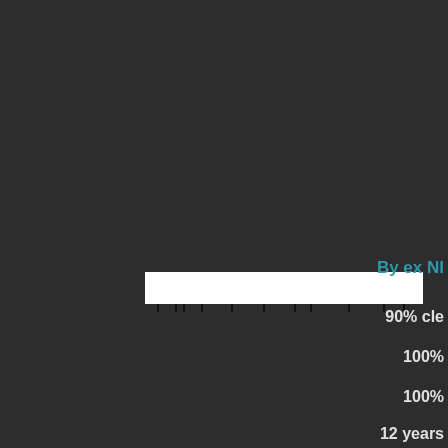[Figure (other): A white horizontal bar with small black tick marks along the bottom edge, positioned in the lower-left area of a dark background]
By ex NI
90% cle
100%
100%
12 years